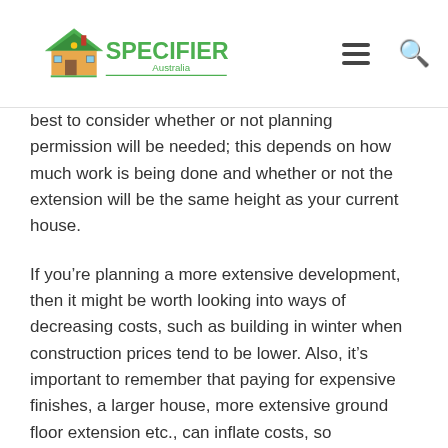Specifier Australia
best to consider whether or not planning permission will be needed; this depends on how much work is being done and whether or not the extension will be the same height as your current house.
If you’re planning a more extensive development, then it might be worth looking into ways of decreasing costs, such as building in winter when construction prices tend to be lower. Also, it’s important to remember that paying for expensive finishes, a larger house, more extensive ground floor extension etc., can inflate costs, so sometimes it's better to opt for DIY alternatives where possible or mid-range fittings.
You should also consider how long you plan on staying in this home, and if there is anything else you